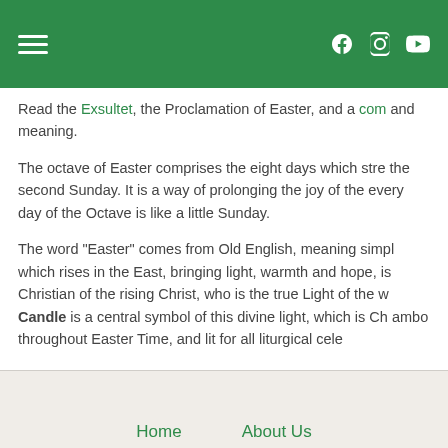Navigation bar with hamburger menu and social icons (Facebook, Instagram, YouTube)
Read the Exsultet, the Proclamation of Easter, and a com and meaning.
The octave of Easter comprises the eight days which stre the second Sunday. It is a way of prolonging the joy of the every day of the Octave is like a little Sunday.
The word "Easter" comes from Old English, meaning simpl which rises in the East, bringing light, warmth and hope, is Christian of the rising Christ, who is the true Light of the w Candle is a central symbol of this divine light, which is Ch ambo throughout Easter Time, and lit for all liturgical cele
Home   About Us